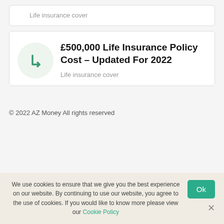Life insurance cover
£500,000 Life Insurance Policy Cost – Updated For 2022
Life insurance cover
© 2022 AZ Money All rights reserved
We use cookies to ensure that we give you the best experience on our website. By continuing to use our website, you agree to the use of cookies. If you would like to know more please view our Cookie Policy